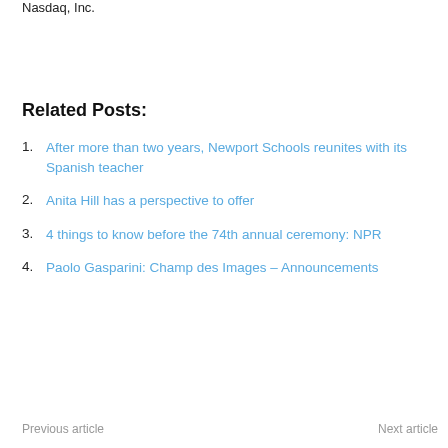Nasdaq, Inc.
Related Posts:
After more than two years, Newport Schools reunites with its Spanish teacher
Anita Hill has a perspective to offer
4 things to know before the 74th annual ceremony: NPR
Paolo Gasparini: Champ des Images – Announcements
Previous article   Next article